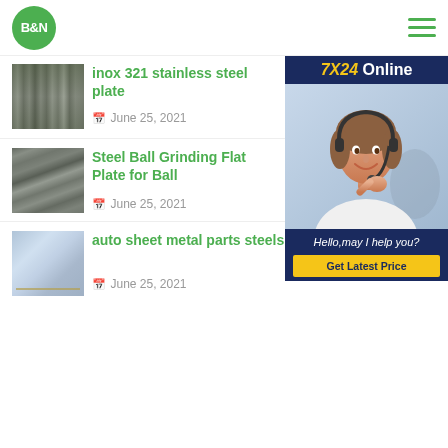B&N
[Figure (photo): Thumbnail of stainless steel plate product]
inox 321 stainless steel plate
June 25, 2021
[Figure (photo): Thumbnail of steel ball grinding flat plate for ball]
Steel Ball Grinding Flat Plate for Ball
June 25, 2021
[Figure (photo): Thumbnail of auto sheet metal parts steels]
auto sheet metal parts steels
June 25, 2021
[Figure (photo): 7X24 Online chat widget with customer service representative. Hello, may I help you? Get Latest Price button.]